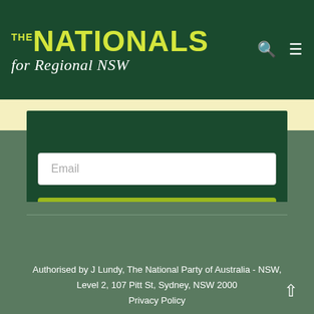THE NATIONALS for Regional NSW
Email
SUBSCRIBE
Authorised by J Lundy, The National Party of Australia - NSW, Level 2, 107 Pitt St, Sydney, NSW 2000
Privacy Policy